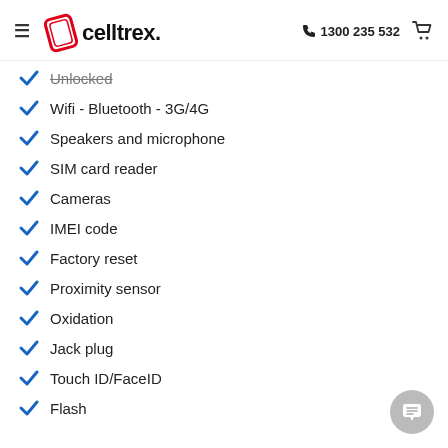celltrex. | 1300 235 532
Unlocked
Wifi - Bluetooth - 3G/4G
Speakers and microphone
SIM card reader
Cameras
IMEI code
Factory reset
Proximity sensor
Oxidation
Jack plug
Touch ID/FaceID
Flash